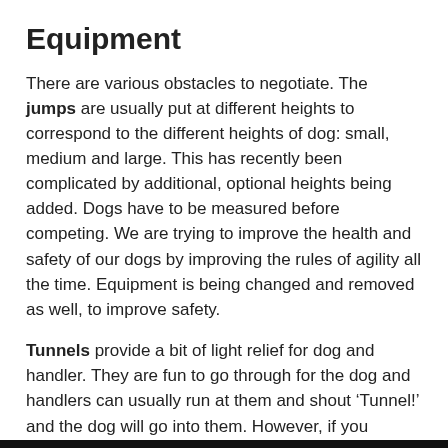Equipment
There are various obstacles to negotiate. The jumps are usually put at different heights to correspond to the different heights of dog: small, medium and large. This has recently been complicated by additional, optional heights being added. Dogs have to be measured before competing. We are trying to improve the health and safety of our dogs by improving the rules of agility all the time. Equipment is being changed and removed as well, to improve safety.
Tunnels provide a bit of light relief for dog and handler. They are fun to go through for the dog and handlers can usually run at them and shout ‘Tunnel!’ and the dog will go into them. However, if you change direction before your dog is commited to them, they won’t necessarily go through them, as Aura demonstrates perfectly in this video: